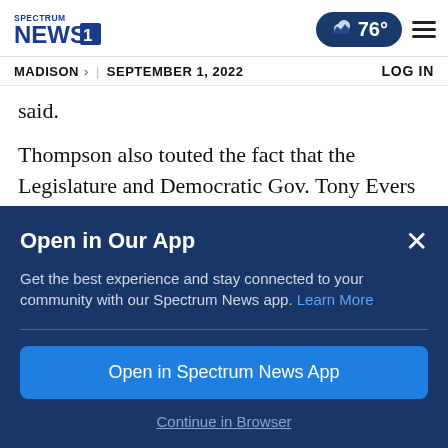Spectrum News 1 | MADISON > | SEPTEMBER 1, 2022 | 76° | LOG IN
said.
Thompson also touted the fact that the Legislature and Democratic Gov. Tony Evers also lifted an eight-year freeze on in-state tuition and returned rate-setting powers to the regents
Open in Our App
Get the best experience and stay connected to your community with our Spectrum News app. Learn More
Open in Spectrum News App
Continue in Browser